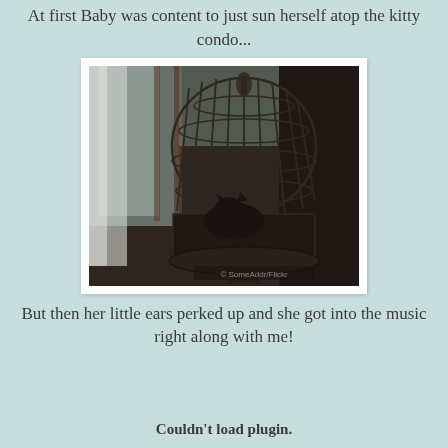At first Baby was content to just sun herself atop the kitty condo...
[Figure (photo): A cat sitting inside or near a large ornate domed birdcage, photographed indoors near a window with curtains and wooden frames visible in the background. The image is dark and moody.]
But then her little ears perked up and she got into the music right along with me!
Couldn't load plugin.